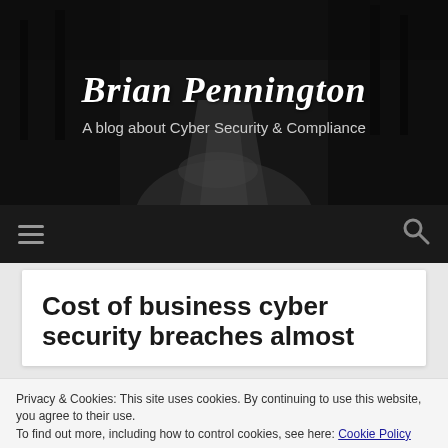[Figure (photo): Dark black and white photo of a winding road through trees, used as blog header background]
Brian Pennington
A blog about Cyber Security & Compliance
[Figure (other): Navigation bar with hamburger menu icon on left and search icon on right, dark background]
Cost of business cyber security breaches almost
Privacy & Cookies: This site uses cookies. By continuing to use this website, you agree to their use.
To find out more, including how to control cookies, see here: Cookie Policy
Close and accept